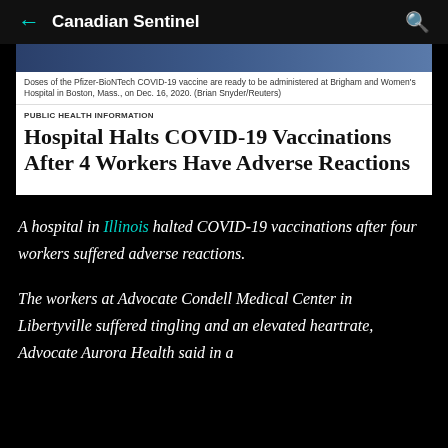Canadian Sentinel
[Figure (photo): Top portion of a photo showing Pfizer-BioNTech COVID-19 vaccine doses ready to be administered at Brigham and Women's Hospital]
Doses of the Pfizer-BioNTech COVID-19 vaccine are ready to be administered at Brigham and Women's Hospital in Boston, Mass., on Dec. 16, 2020. (Brian Snyder/Reuters)
PUBLIC HEALTH INFORMATION
Hospital Halts COVID-19 Vaccinations After 4 Workers Have Adverse Reactions
A hospital in Illinois halted COVID-19 vaccinations after four workers suffered adverse reactions.
The workers at Advocate Condell Medical Center in Libertyville suffered tingling and an elevated heartrate, Advocate Aurora Health said in a